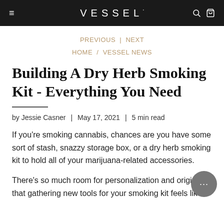≡  VESSEL  🔍 🛒
PREVIOUS | NEXT
HOME / VESSEL NEWS
Building A Dry Herb Smoking Kit - Everything You Need
by Jessie Casner | May 17, 2021 | 5 min read
If you're smoking cannabis, chances are you have some sort of stash, snazzy storage box, or a dry herb smoking kit to hold all of your marijuana-related accessories.
There's so much room for personalization and originality that gathering new tools for your smoking kit feels like a